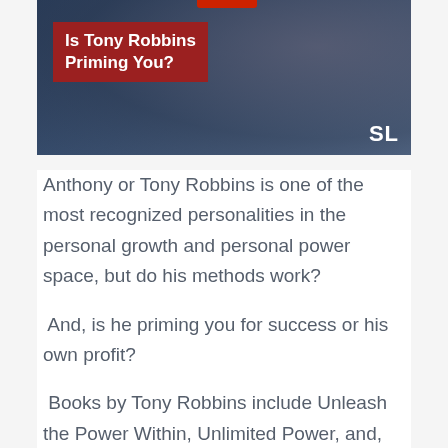[Figure (photo): Dark blue-toned image of Tony Robbins with a red label overlay reading 'Is Tony Robbins Priming You?' and 'SL' badge in bottom right corner]
Anthony or Tony Robbins is one of the most recognized personalities in the personal growth and personal power space, but do his methods work?
And, is he priming you for success or his own profit?
Books by Tony Robbins include Unleash the Power Within, Unlimited Power, and, Awaken the Giant Within. Standing at 2.1